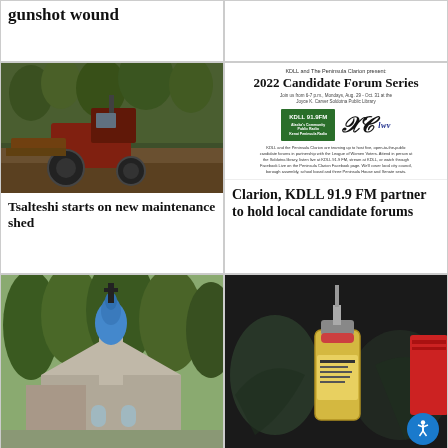gunshot wound
[Figure (photo): Empty card top right]
[Figure (photo): Tractor clearing brush in forested area]
Tsalteshi starts on new maintenance shed
[Figure (infographic): KDLL and The Peninsula Clarion 2022 Candidate Forum Series advertisement with logos]
Clarion, KDLL 91.9 FM partner to hold local candidate forums
[Figure (photo): Orthodox church with blue onion dome and cross surrounded by trees]
[Figure (photo): Gloved hands holding a vaccine vial with accessibility button overlay]